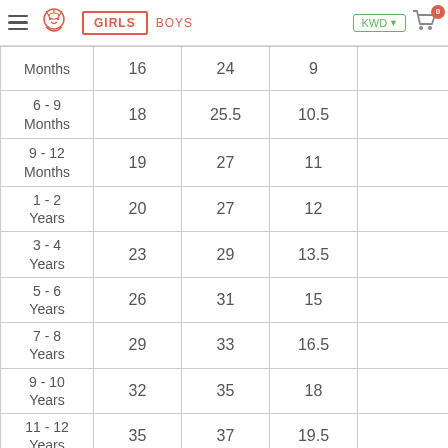GIRLS  BOYS  KWD  0
| Size | Col2 | Col3 | Col4 | Col5 |
| --- | --- | --- | --- | --- |
| Months | 16 | 24 | 9 |  |
| 6 - 9 Months | 18 | 25.5 | 10.5 |  |
| 9 - 12 Months | 19 | 27 | 11 |  |
| 1 - 2 Years | 20 | 27 | 12 |  |
| 3 - 4 Years | 23 | 29 | 13.5 |  |
| 5 - 6 Years | 26 | 31 | 15 |  |
| 7 - 8 Years | 29 | 33 | 16.5 |  |
| 9 - 10 Years | 32 | 35 | 18 |  |
| 11 - 12 Years | 35 | 37 | 19.5 |  |